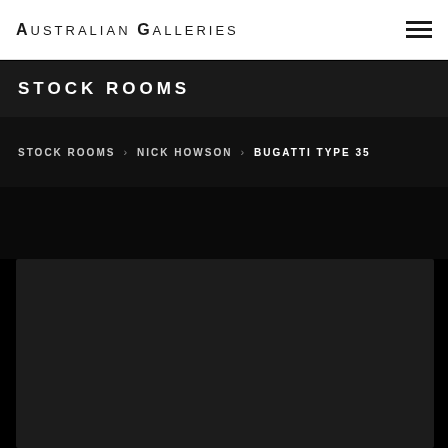AUSTRALIAN GALLERIES
STOCK ROOMS
STOCK ROOMS > NICK HOWSON > BUGATTI TYPE 35
[Figure (photo): Dark/black image area showing artwork photo, partially visible at bottom of page]